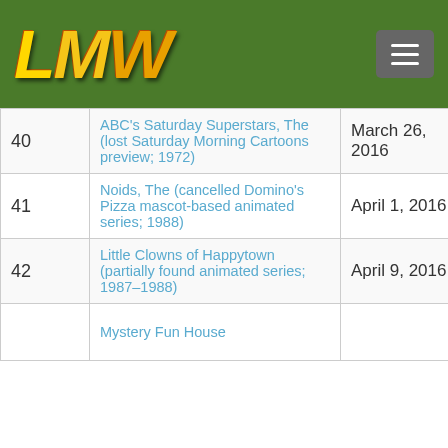LMW
| # | Title | Date |  |
| --- | --- | --- | --- |
| 40 | ABC's Saturday Superstars, The (lost Saturday Morning Cartoons preview; 1972) | March 26, 2016 |  |
| 41 | Noids, The (cancelled Domino's Pizza mascot-based animated series; 1988) | April 1, 2016 |  |
| 42 | Little Clowns of Happytown (partially found animated series; 1987-1988) | April 9, 2016 |  |
| 43 | Mystery Fun House ... |  |  |